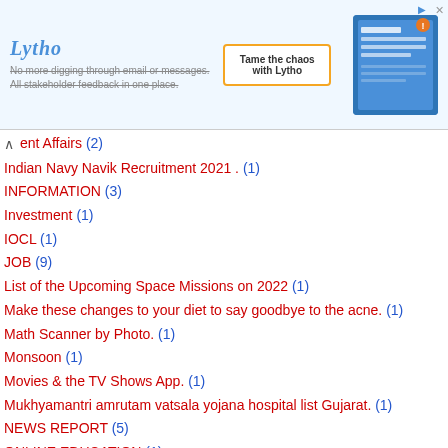[Figure (screenshot): Lytho advertisement banner with logo, tagline, CTA button and app screenshot]
ent Affairs (2)
Indian Navy Navik Recruitment 2021 . (1)
INFORMATION (3)
Investment (1)
IOCL (1)
JOB (9)
List of the Upcoming Space Missions on 2022 (1)
Make these changes to your diet to say goodbye to the acne. (1)
Math Scanner by Photo. (1)
Monsoon (1)
Movies & the TV Shows App. (1)
Mukhyamantri amrutam vatsala yojana hospital list Gujarat. (1)
NEWS REPORT (5)
ONLINE EDUCATION (1)
Online Education Daily home Learning Video 24 M arch 2021 std 3 to 12. (1)